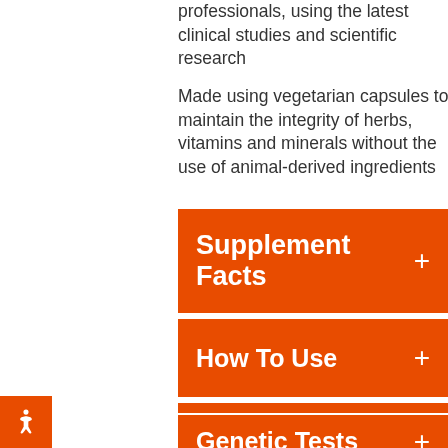professionals, using the latest clinical studies and scientific research
Made using vegetarian capsules to maintain the integrity of herbs, vitamins and minerals without the use of animal-derived ingredients
Supplement Facts +
How To Use +
Media +
Genetic Tests +